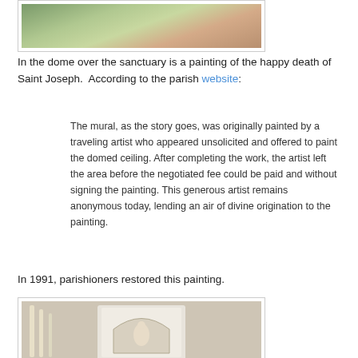[Figure (photo): Top portion of a dome painting showing colorful mosaic or mural with green, red, and gold colors]
In the dome over the sanctuary is a painting of the happy death of Saint Joseph.  According to the parish website:
The mural, as the story goes, was originally painted by a traveling artist who appeared unsolicited and offered to paint the domed ceiling. After completing the work, the artist left the area before the negotiated fee could be paid and without signing the painting. This generous artist remains anonymous today, lending an air of divine origination to the painting.
In 1991, parishioners restored this painting.
[Figure (photo): Interior church photo showing an ornate white altar niche with arch, decorative columns, and a statue of the Virgin Mary holding the Christ child]